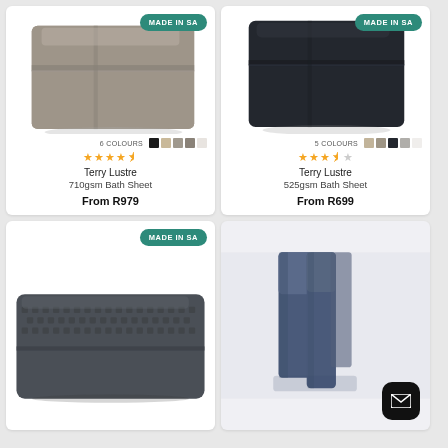[Figure (photo): Folded grey bath towel with 'Made in SA' badge, 6 colour swatches, 4.5 star rating, Terry Lustre 710gsm Bath Sheet, From R979]
[Figure (photo): Folded dark navy/black bath towel with 'Made in SA' badge, 5 colour swatches, 3.5 star rating, Terry Lustre 525gsm Bath Sheet, From R699]
[Figure (photo): Folded dark grey waffle-textured towel with 'Made in SA' badge, partially visible, bottom-left card]
[Figure (photo): Blue towels hanging on a hook or rail, with a dark rounded mail/envelope button in bottom-right corner, bottom-right card]